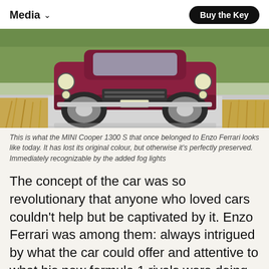Media
[Figure (photo): A dark red/maroon vintage MINI Cooper 1300 S driving on a road, with golden wheat grass in the foreground and green trees in the background.]
This is what the MINI Cooper 1300 S that once belonged to Enzo Ferrari looks like today. It has lost its original colour, but otherwise it's perfectly preserved. Immediately recognizable by the added fog lights
The concept of the car was so revolutionary that anyone who loved cars couldn't help but be captivated by it. Enzo Ferrari was among them: always intrigued by what the car could offer and attentive to what his new formula 1 rivals were doing, when the Cooper 1100 S model came out he immediately bought one. And he fell in love with